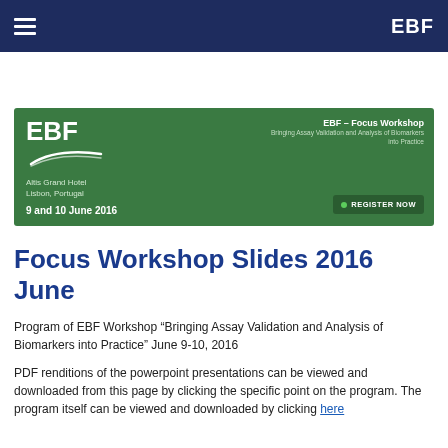EBF
[Figure (illustration): Green banner for EBF Focus Workshop – Bringing Assay Validation and Analysis of Biomarkers into Practice, 9 and 10 June 2016, Altis Grand Hotel, Lisbon, Portugal, with Register Now button]
Focus Workshop Slides 2016 June
Program of EBF Workshop “Bringing Assay Validation and Analysis of Biomarkers into Practice”  June 9-10, 2016
PDF renditions of the powerpoint presentations can be viewed and downloaded from this page by clicking the specific point on the program. The program itself can be viewed and downloaded by clicking here